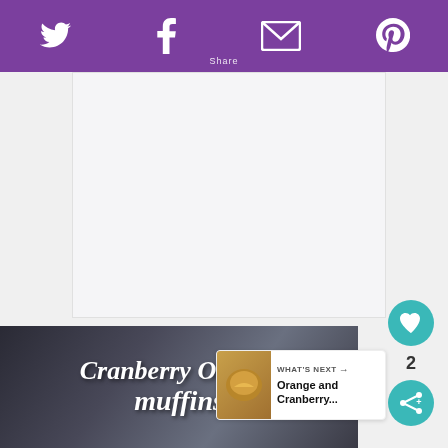Twitter Facebook Email Pinterest
[Figure (other): White advertisement placeholder area]
[Figure (photo): Cranberry Orange Muffins hero image with script text overlay on dark background]
2
WHAT'S NEXT → Orange and Cranberry...